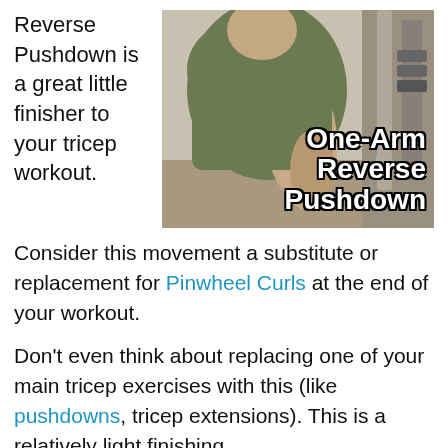Reverse Pushdown is a great little finisher to your tricep workout.
[Figure (photo): A man performing a One-Arm Reverse Pushdown exercise on a cable machine, with overlaid text reading 'One-Arm Reverse Pushdown']
Consider this movement a substitute or replacement for Pinwheel Curls at the end of your workout.
Don't even think about replacing one of your main tricep exercises with this (like pushdowns, tricep extensions). This is a relatively light finishing